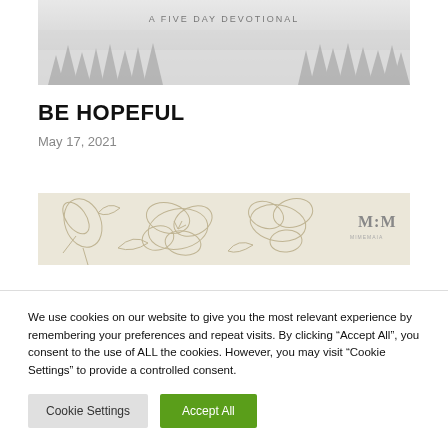[Figure (photo): Misty forest landscape with pine trees in fog, grayscale. Text 'A FIVE DAY DEVOTIONAL' centered near top of image.]
BE HOPEFUL
May 17, 2021
[Figure (illustration): Floral banner with line-drawn flowers (magnolias/hibiscus) on a beige/cream textured background, with 'M:M' logo on right side.]
We use cookies on our website to give you the most relevant experience by remembering your preferences and repeat visits. By clicking “Accept All”, you consent to the use of ALL the cookies. However, you may visit "Cookie Settings" to provide a controlled consent.